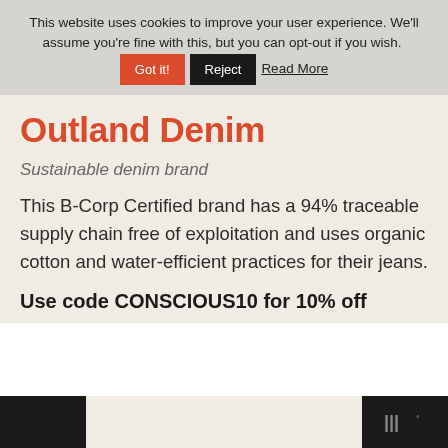This website uses cookies to improve your user experience. We'll assume you're fine with this, but you can opt-out if you wish. Got it! Reject Read More
Outland Denim
Sustainable denim brand
This B-Corp Certified brand has a 94% traceable supply chain free of exploitation and uses organic cotton and water-efficient practices for their jeans.
Use code CONSCIOUS10 for 10% off